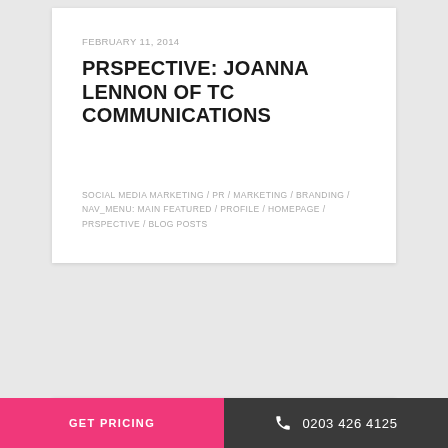FEBRUARY 11, 2014
PRSPECTIVE: JOANNA LENNON OF TC COMMUNICATIONS
SOCIAL MEDIA MARKETING / PR / MARKETING / BRANDING / NAV_MENU: MAIN FEATURED / PROFILE / HOMEPAGE / PRSPECTIVE / BLOG POSTS
GET PRICING   0203 426 4125